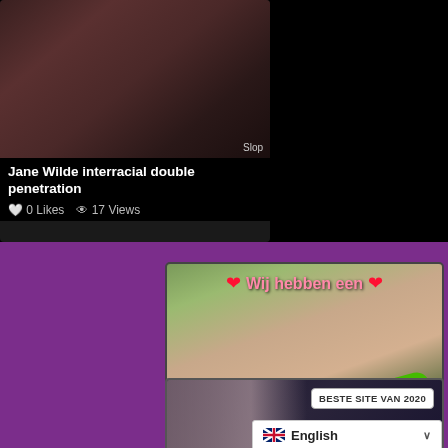[Figure (screenshot): Video thumbnail for adult content with dark background and partial view]
Jane Wilde interracial double penetration
0 Likes  17 Views
[Figure (photo): Advertisement banner: Wij hebben een SEKSMATCH with female figure and green checkmark]
[Figure (photo): Bottom advertisement showing female figure with BESTE SITE VAN 2020 badge and English language selector]